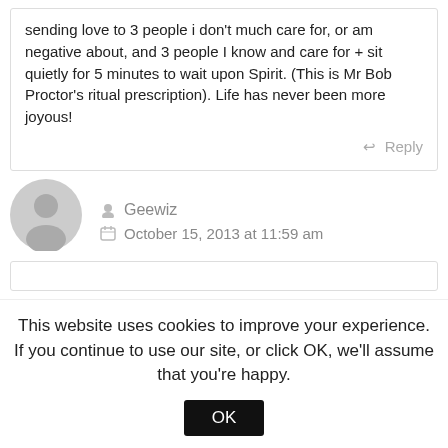sending love to 3 people i don't much care for, or am negative about, and 3 people I know and care for + sit quietly for 5 minutes to wait upon Spirit. (This is Mr Bob Proctor's ritual prescription). Life has never been more joyous!
Reply
[Figure (illustration): Default user avatar: grey circle with grey silhouette of a person]
Geewiz
October 15, 2013 at 11:59 am
This website uses cookies to improve your experience. If you continue to use our site, or click OK, we'll assume that you're happy.
OK